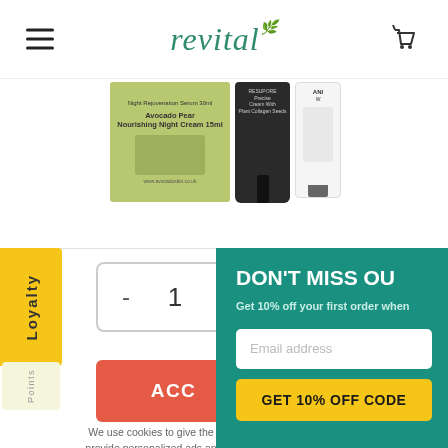revital
[Figure (photo): Product images: Avocado Pear Nourishing Night Cream, a dark glass dropper bottle, and a white tube (Anew brand), partially visible on a white background]
[Figure (infographic): Yellow vertical loyalty badge on left side reading 'Loyalty Points']
- 1 +
ACC
We use cookies to give the provide personalized ads an accepts the use of Cookies o we will notify you whe
DON'T MISS OU
Get 10% off your first order when
Email address
GET 10% OFF CODE